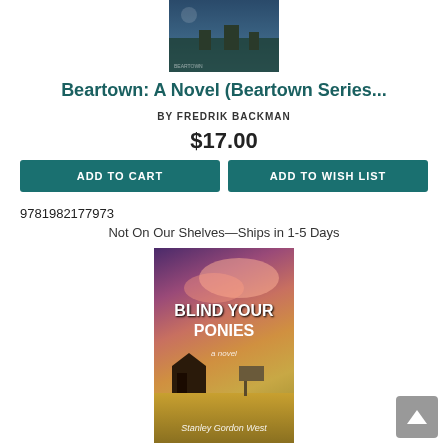[Figure (photo): Book cover for Beartown by Fredrik Backman at top of page (partially cropped)]
Beartown: A Novel (Beartown Series...
BY FREDRIK BACKMAN
$17.00
ADD TO CART
ADD TO WISH LIST
9781982177973
Not On Our Shelves—Ships in 1-5 Days
[Figure (photo): Book cover for Blind Your Ponies (Paperback) by Stanley Gordon West, showing a house on a prairie under a colorful sunset sky with the title text in white]
Blind Your Ponies (Paperback)
BY STANLEY GORDON WEST
$16.95